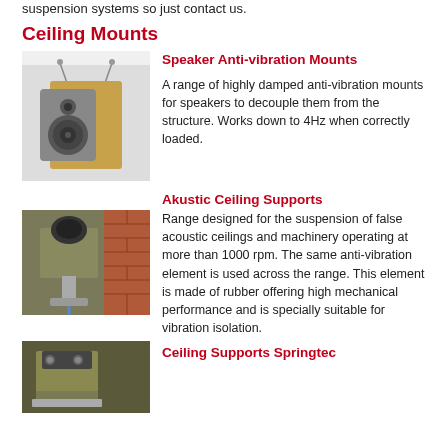suspension systems so just contact us.
Ceiling Mounts
[Figure (photo): A ceiling-mounted speaker with wooden cabinet suspended from ceiling brackets with anti-vibration mounts]
Speaker Anti-vibration Mounts
A range of highly damped anti-vibration mounts for speakers to decouple them from the structure. Works down to 4Hz when correctly loaded.
Akustic Ceiling Supports
[Figure (photo): Close-up of an Akustic ceiling support mounting hardware with rubber anti-vibration element, shown attached to a brick wall]
Range designed for the suspension of false acoustic ceilings and machinery operating at more than 1000 rpm. The same anti-vibration element is used across the range. This element is made of rubber offering high mechanical performance and is specially suitable for vibration isolation.
[Figure (photo): Ceiling Supports Springtec product photo]
Ceiling Supports Springtec